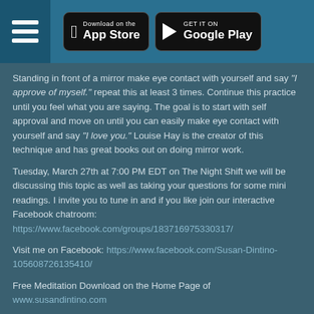App Store and Google Play download buttons with hamburger menu
Standing in front of a mirror make eye contact with yourself and say “I approve of myself.” repeat this at least 3 times. Continue this practice until you feel what you are saying. The goal is to start with self approval and move on until you can easily make eye contact with yourself and say “I love you.” Louise Hay is the creator of this technique and has great books out on doing mirror work.
Tuesday, March 27th at 7:00 PM EDT on The Night Shift we will be discussing this topic as well as taking your questions for some mini readings. I invite you to tune in and if you like join our interactive Facebook chatroom: https://www.facebook.com/groups/183716975330317/
Visit me on Facebook: https://www.facebook.com/Susan-Dintino-105608726135410/
Free Meditation Download on the Home Page of www.susandintino.com
Related Posts